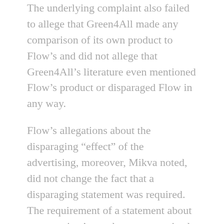The underlying complaint also failed to allege that Green4All made any comparison of its own product to Flow’s and did not allege that Green4All’s literature even mentioned Flow’s product or disparaged Flow in any way.
Flow’s allegations about the disparaging “effect” of the advertising, moreover, Mikva noted, did not change the fact that a disparaging statement was required. The requirement of a statement about a competitor’s goods was recognized in Lexmark International Inc. v. Transportation Insurance Co., 327 Ill.App.3d 128 (2001). Here, however, Green4All’s only statement